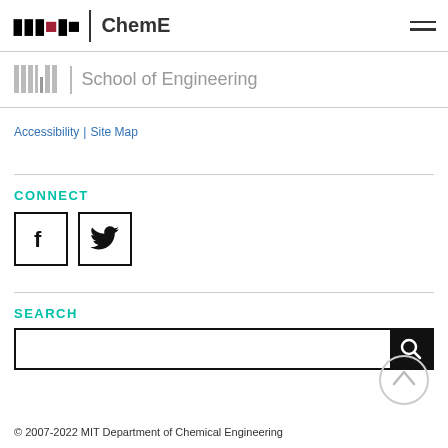MIT | ChemE
[Figure (logo): MIT School of Engineering logo with grey MIT wordmark and 'School of Engineering' text]
Accessibility | Site Map
CONNECT
[Figure (illustration): Facebook icon square and Twitter bird icon square - social media links]
SEARCH
[Figure (illustration): Search input bar with magnifying glass icon button]
[Figure (illustration): Scroll-to-top circular button with upward chevron]
© 2007-2022 MIT Department of Chemical Engineering